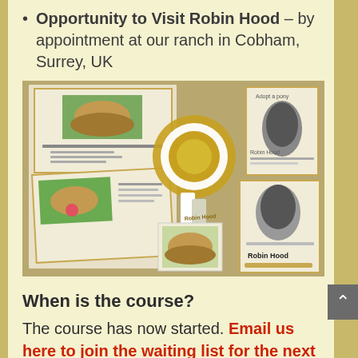Opportunity to Visit Robin Hood – by appointment at our ranch in Cobham, Surrey, UK
[Figure (photo): A collection of Robin Hood adoption pack items including certificates, photos of a Shetland pony, a rosette ribbon, and printed adoption documentation laid out on a table.]
When is the course?
The course has now started. Email us here to join the waiting list for the next